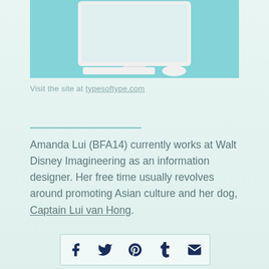[Figure (photo): Partial view of a white iMac desktop computer on a light teal/aqua background, showing the top of the monitor, keyboard, and mouse.]
Visit the site at typesoftype.com
Amanda Lui (BFA14) currently works at Walt Disney Imagineering as an information designer. Her free time usually revolves around promoting Asian culture and her dog, Captain Lui van Hong.